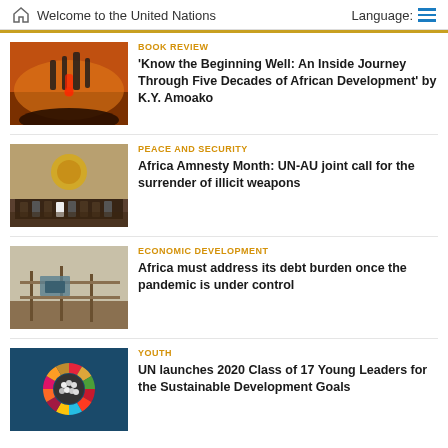Welcome to the United Nations   Language:
[Figure (photo): Child silhouette against orange-red fire/crowd background]
BOOK REVIEW
'Know the Beginning Well: An Inside Journey Through Five Decades of African Development' by K.Y. Amoako
[Figure (photo): Group of diplomats/officials posing in front of African Union gold emblem]
PEACE AND SECURITY
Africa Amnesty Month: UN-AU joint call for the surrender of illicit weapons
[Figure (photo): Workers on construction scaffolding, economic development scene]
ECONOMIC DEVELOPMENT
Africa must address its debt burden once the pandemic is under control
[Figure (photo): SDG colorful wheel logo with young people on dark teal background]
YOUTH
UN launches 2020 Class of 17 Young Leaders for the Sustainable Development Goals